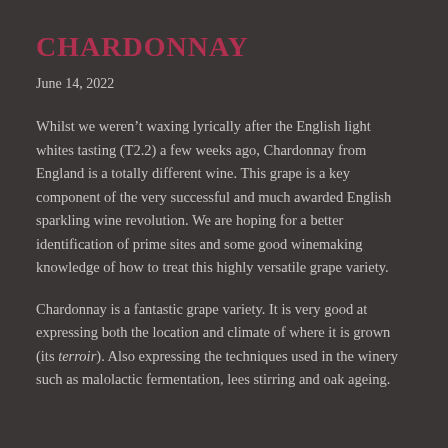CHARDONNAY
June 14, 2022
Whilst we weren’t waxing lyrically after the English light whites tasting (T2.2) a few weeks ago, Chardonnay from England is a totally different wine. This grape is a key component of the very successful and much awarded English sparkling wine revolution. We are hoping for a better identification of prime sites and some good winemaking knowledge of how to treat this highly versatile grape variety.
Chardonnay is a fantastic grape variety. It is very good at expressing both the location and climate of where it is grown (its terroir). Also expressing the techniques used in the winery such as malolactic fermentation, lees stirring and oak ageing.